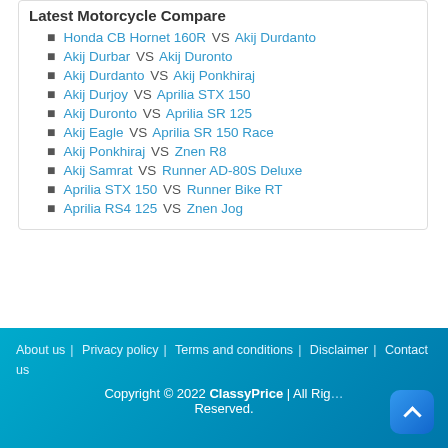Latest Motorcycle Compare
Honda CB Hornet 160R VS Akij Durdanto
Akij Durbar VS Akij Duronto
Akij Durdanto VS Akij Ponkhiraj
Akij Durjoy VS Aprilia STX 150
Akij Duronto VS Aprilia SR 125
Akij Eagle VS Aprilia SR 150 Race
Akij Ponkhiraj VS Znen R8
Akij Samrat VS Runner AD-80S Deluxe
Aprilia STX 150 VS Runner Bike RT
Aprilia RS4 125 VS Znen Jog
About us | Privacy policy | Terms and conditions | Disclaimer | Contact us
Copyright © 2022 ClassyPrice | All Rights Reserved.